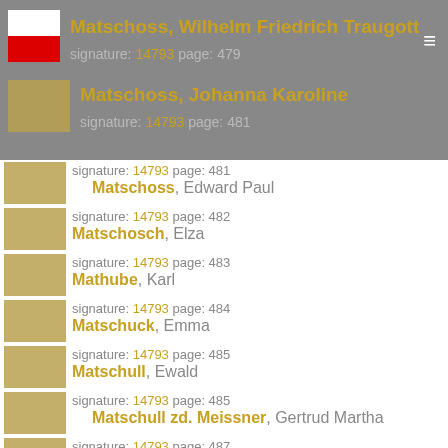Matschoss, Wilhelm Friedrich Traugott — signature: 14793 page: 479
Matschoss, Johanna Karoline — signature: 14793 page: 481
Matschoss, Edward Paul — signature: 14793 page: 481
Matschosch, Elza — signature: 14793 page: 482
Mathube, Karl — signature: 14793 page: 483
Matschuck, Emma — signature: 14793 page: 484
Matschull, Ewald — signature: 14793 page: 485
Matschull zd. Meissner, Gertrud Martha — signature: 14793 page: 485
Matszula, Katarzyna — signature: 14793 page: 487
Matug, Jan — signature: 14793 page: 488
Matug, Marja